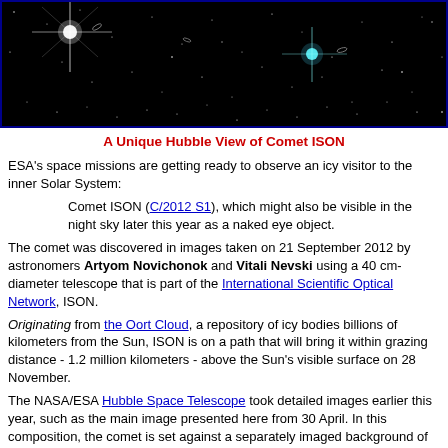[Figure (photo): Hubble Space Telescope image of Comet ISON against a dark star field with galaxies, bright stars with diffraction spikes visible.]
A Unique Hubble View of Comet ISON
ESA's space missions are getting ready to observe an icy visitor to the inner Solar System:
Comet ISON (C/2012 S1), which might also be visible in the night sky later this year as a naked eye object.
The comet was discovered in images taken on 21 September 2012 by astronomers Artyom Novichonok and Vitali Nevski using a 40 cm-diameter telescope that is part of the International Scientific Optical Network, ISON.
Originating from the Oort Cloud, a repository of icy bodies billions of kilometres from the Sun, ISON is on a path that will bring it within grazing distance - 1.2 million kilometers - above the Sun's visible surface on 28 November.
The NASA/ESA Hubble Space Telescope took detailed images earlier this year, such as the main image presented here from 30 April. In this composition, the comet is set against a separately imaged background of stars and galaxies.